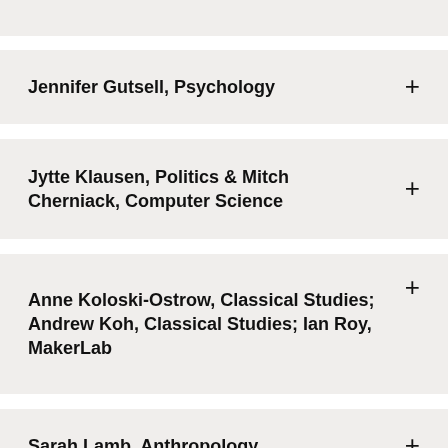Jennifer Gutsell, Psychology
Jytte Klausen, Politics & Mitch Cherniack, Computer Science
Anne Koloski-Ostrow, Classical Studies; Andrew Koh, Classical Studies; Ian Roy, MakerLab
Sarah Lamb, Anthropology